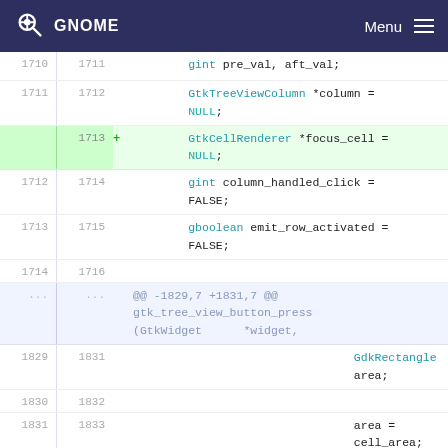GNOME   Menu
[Figure (screenshot): Code diff view showing changes to a C source file. Lines 1710-1716 and 1829-1833 are shown with context, plus an added line 1713 (GtkCellRenderer *focus_cell = NULL;) and a removed line 1832.]
1710  1711      gint pre_val, aft_val;
1711  1712      GtkTreeViewColumn *column = NULL;
      1713  +   GtkCellRenderer *focus_cell = NULL;
1712  1714      gint column_handled_click = FALSE;
1713  1715      gboolean emit_row_activated = FALSE;
1714  1716
...   ...   @@ -1829,7 +1831,7 @@ gtk_tree_view_button_press (GtkWidget      *widget,
1829  1831                           GdkRectangle area;
1830  1832
1831  1833                           area = cell_area;
1832        -  gtk_tree_view_column_get_neighbor_s